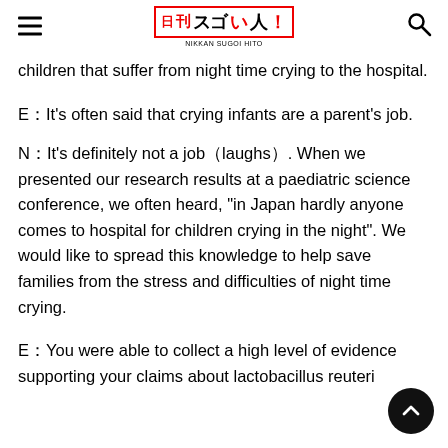Nikkan Sugoi Hito (日刊スゴい人！)
children that suffer from night time crying to the hospital.
E：It's often said that crying infants are a parent's job.
N：It's definitely not a job（laughs）. When we presented our research results at a paediatric science conference, we often heard, "in Japan hardly anyone comes to hospital for children crying in the night". We would like to spread this knowledge to help save families from the stress and difficulties of night time crying.
E：You were able to collect a high level of evidence supporting your claims about lactobacillus reuteri